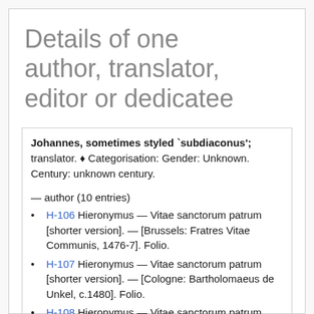Details of one author, translator, editor or dedicatee
Johannes, sometimes styled `subdiaconus'; translator. ♦ Categorisation: Gender: Unknown. Century: unknown century.
— author (10 entries)
H-106 Hieronymus — Vitae sanctorum patrum [shorter version]. — [Brussels: Fratres Vitae Communis, 1476-7]. Folio.
H-107 Hieronymus — Vitae sanctorum patrum [shorter version]. — [Cologne: Bartholomaeus de Unkel, c.1480]. Folio.
H-108 Hieronymus — Vitae sanctorum patrum [shorter version]. — [Cologne: